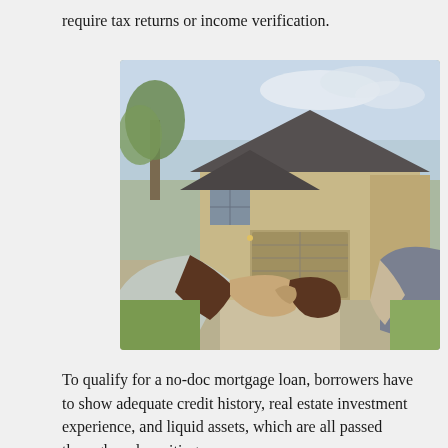require tax returns or income verification.
[Figure (photo): Two people shaking hands in front of a two-story brick and stone house with a garage, trees visible in the background, outdoor real estate scene.]
To qualify for a no-doc mortgage loan, borrowers have to show adequate credit history, real estate investment experience, and liquid assets, which are all passed through underwriting.